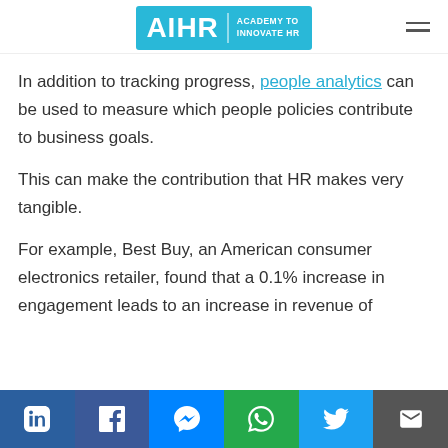AIHR | ACADEMY TO INNOVATE HR
In addition to tracking progress, people analytics can be used to measure which people policies contribute to business goals.
This can make the contribution that HR makes very tangible.
For example, Best Buy, an American consumer electronics retailer, found that a 0.1% increase in engagement leads to an increase in revenue of
LinkedIn | Facebook | Messenger | WhatsApp | Twitter | Email